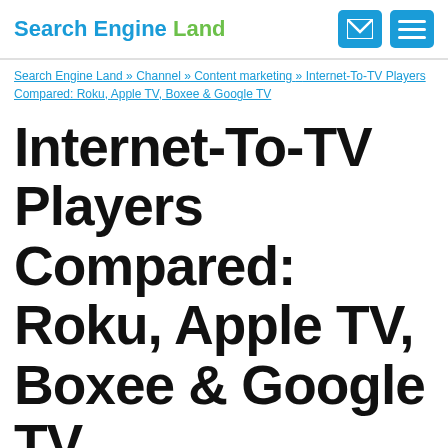Search Engine Land
Search Engine Land » Channel » Content marketing » Internet-To-TV Players Compared: Roku, Apple TV, Boxee & Google TV
Internet-To-TV Players Compared: Roku, Apple TV, Boxee & Google TV
Looking to stream movies or television content from the internet to your TV? There are a variety of streaming media players on the market. The chart below